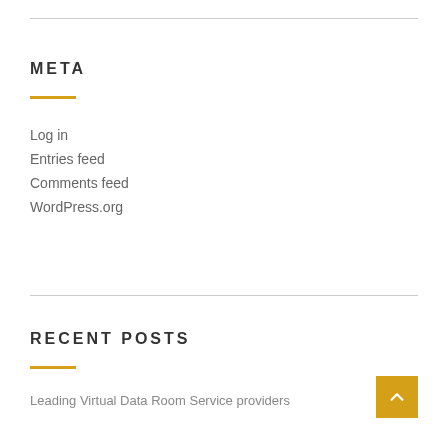META
Log in
Entries feed
Comments feed
WordPress.org
RECENT POSTS
Leading Virtual Data Room Service providers